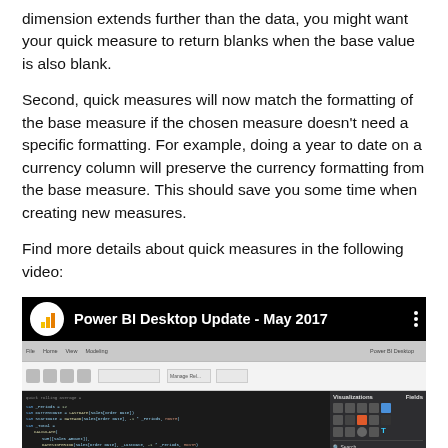dimension extends further than the data, you might want your quick measure to return blanks when the base value is also blank.
Second, quick measures will now match the formatting of the base measure if the chosen measure doesn't need a specific formatting. For example, doing a year to date on a currency column will preserve the currency formatting from the base measure. This should save you some time when creating new measures.
Find more details about quick measures in the following video:
[Figure (screenshot): Screenshot of a YouTube-style video thumbnail for 'Power BI Desktop Update - May 2017' showing the Power BI logo and a screenshot of Power BI Desktop with DAX code editor and visualizations panel.]